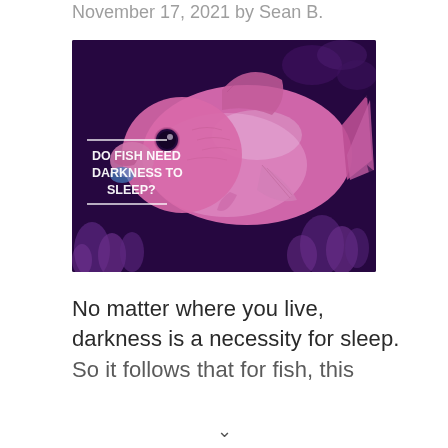November 17, 2021 by Sean B.
[Figure (photo): A pink/magenta colored fish photographed in an aquarium with purple coral and dark background, with overlaid white bold text reading 'DO FISH NEED DARKNESS TO SLEEP?' with horizontal white lines above and below the text on the left side of the image.]
No matter where you live, darkness is a necessity for sleep. So it follows that for fish, this...